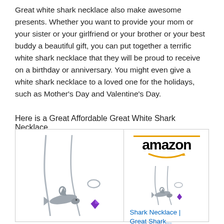Great white shark necklace also make awesome presents. Whether you want to provide your mom or your sister or your girlfriend or your brother or your best buddy a beautiful gift, you can put together a terrific white shark necklace that they will be proud to receive on a birthday or anniversary. You might even give a white shark necklace to a loved one for the holidays, such as Mother's Day and Valentine's Day.
Here is a Great Affordable Great White Shark Necklace
[Figure (photo): Product listing box with two sections: left shows a silver shark charm necklace with clasp and purple gemstone accent; right shows Amazon logo with orange line above it, a smaller product thumbnail image of the same necklace, product title 'Shark Necklace | Great Shark...' in blue link text, and price '$15.17']